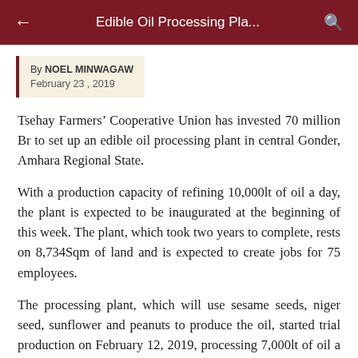Edible Oil Processing Pla...
By NOEL MINWAGAW
February 23 , 2019
Tsehay Farmers' Cooperative Union has invested 70 million Br to set up an edible oil processing plant in central Gonder, Amhara Regional State.
With a production capacity of refining 10,000lt of oil a day, the plant is expected to be inaugurated at the beginning of this week. The plant, which took two years to complete, rests on 8,734Sqm of land and is expected to create jobs for 75 employees.
The processing plant, which will use sesame seeds, niger seed, sunflower and peanuts to produce the oil, started trial production on February 12, 2019, processing 7,000lt of oil a day.